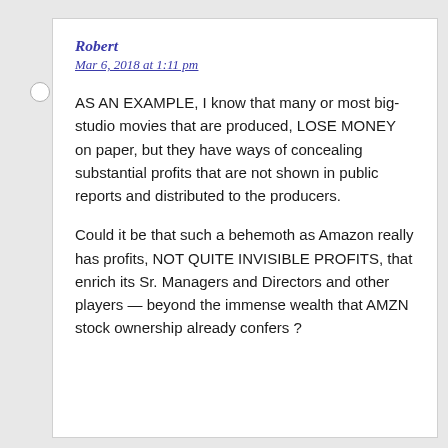Robert
Mar 6, 2018 at 1:11 pm
AS AN EXAMPLE, I know that many or most big-studio movies that are produced, LOSE MONEY on paper, but they have ways of concealing substantial profits that are not shown in public reports and distributed to the producers.
Could it be that such a behemoth as Amazon really has profits, NOT QUITE INVISIBLE PROFITS, that enrich its Sr. Managers and Directors and other players — beyond the immense wealth that AMZN stock ownership already confers ?